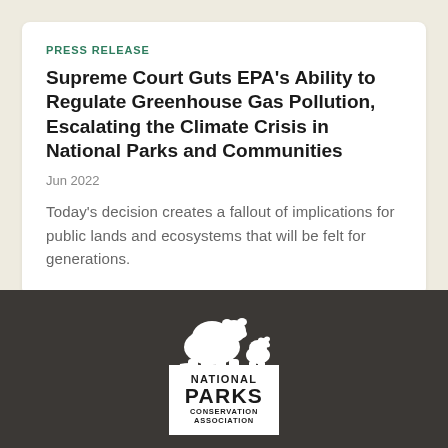PRESS RELEASE
Supreme Court Guts EPA's Ability to Regulate Greenhouse Gas Pollution, Escalating the Climate Crisis in National Parks and Communities
Jun 2022
Today's decision creates a fallout of implications for public lands and ecosystems that will be felt for generations.
[Figure (logo): National Parks Conservation Association logo — white bear silhouette above a white box containing the text NATIONAL PARKS CONSERVATION ASSOCIATION in black on white background]